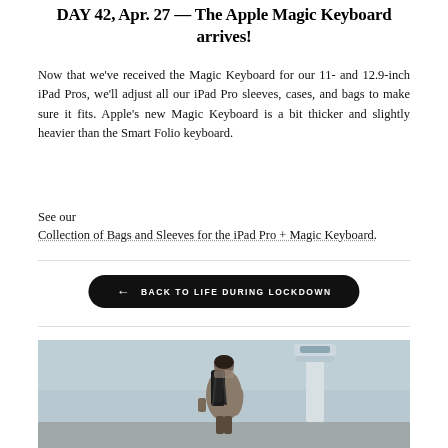DAY 42, Apr. 27 — The Apple Magic Keyboard arrives!
Now that we've received the Magic Keyboard for our 11- and 12.9-inch iPad Pros, we'll adjust all our iPad Pro sleeves, cases, and bags to make sure it fits. Apple's new Magic Keyboard is a bit thicker and slightly heavier than the Smart Folio keyboard.
See our
Collection of Bags and Sleeves for the iPad Pro + Magic Keyboard.
[Figure (other): Black pill-shaped button with left arrow icon and text 'BACK TO LIFE DURING LOCKDOWN']
[Figure (photo): Person seen from behind wearing a backpack, standing near an airport control tower, with a hazy sky background.]